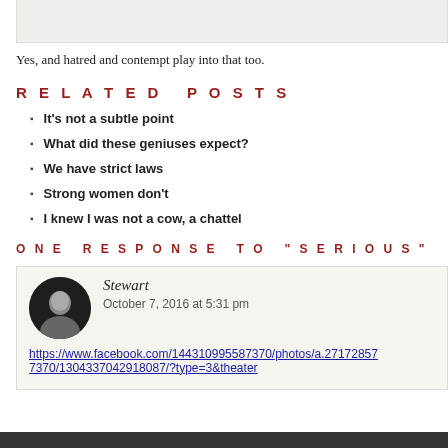Yes, and hatred and contempt play into that too.
Related Posts
It's not a subtle point
What did these geniuses expect?
We have strict laws
Strong women don't
I knew I was not a cow, a chattel
ONE RESPONSE TO "SERIOUS"
Stewart
October 7, 2016 at 5:31 pm
https://www.facebook.com/144310995587370/photos/a.271728577370/130433704291808/?type=3&theater